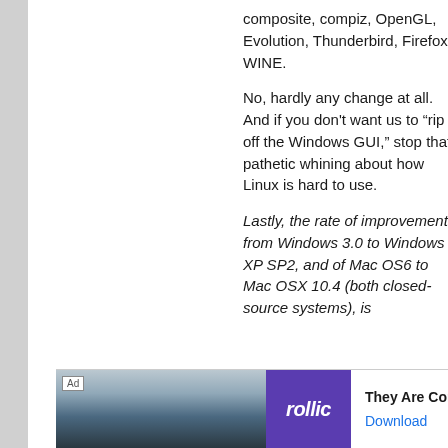composite, compiz, OpenGL, Evolution, Thunderbird, Firefox, WINE.
No, hardly any change at all. And if you don't want us to "rip off the Windows GUI," stop that pathetic whining about how Linux is hard to use.
Lastly, the rate of improvement from Windows 3.0 to Windows XP SP2, and of Mac OS6 to Mac OSX 10.4 (both closed-source systems), is